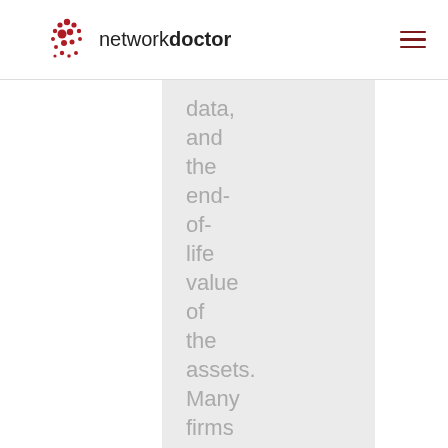network doctor
data, and the end-of-life value of the assets. Many firms attempt to perform data destruction in-